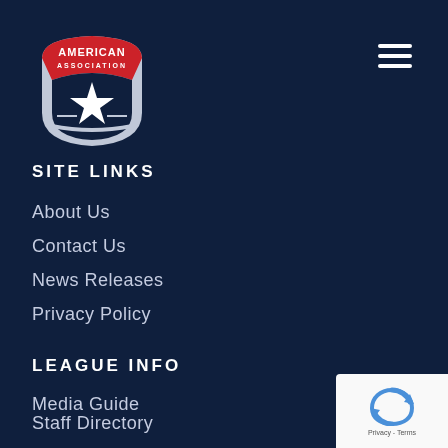[Figure (logo): American Association baseball league logo with red arch at top reading AMERICAN, gray shield shape with star]
[Figure (other): Hamburger menu icon — three horizontal white lines]
SITE LINKS
About Us
Contact Us
News Releases
Privacy Policy
LEAGUE INFO
Media Guide
Staff Directory
League Map
Partners
[Figure (other): Google reCAPTCHA widget badge with circular arrow logo and Privacy - Terms text]